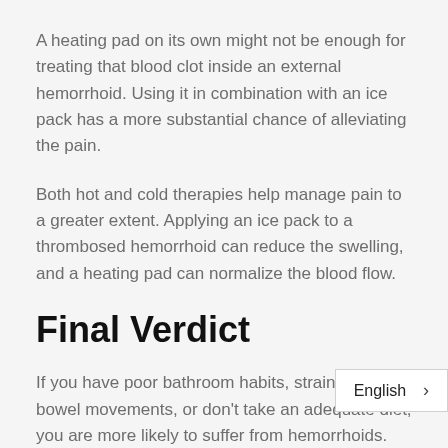A heating pad on its own might not be enough for treating that blood clot inside an external hemorrhoid. Using it in combination with an ice pack has a more substantial chance of alleviating the pain.
Both hot and cold therapies help manage pain to a greater extent. Applying an ice pack to a thrombosed hemorrhoid can reduce the swelling, and a heating pad can normalize the blood flow.
Final Verdict
If you have poor bathroom habits, strain during bowel movements, or don't take an adequate diet, you are more likely to suffer from hemorrhoids.
Simple self-care practices and at-home t
English >